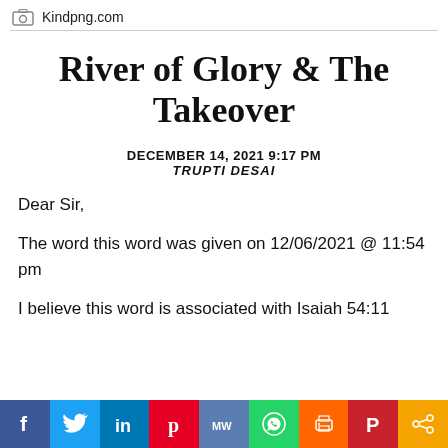Kindpng.com
River of Glory & The Takeover
DECEMBER 14, 2021 9:17 PM
TRUPTI DESAI
Dear Sir,
The word this word was given on 12/06/2021 @ 11:54 pm
I believe this word is associated with Isaiah 54:11